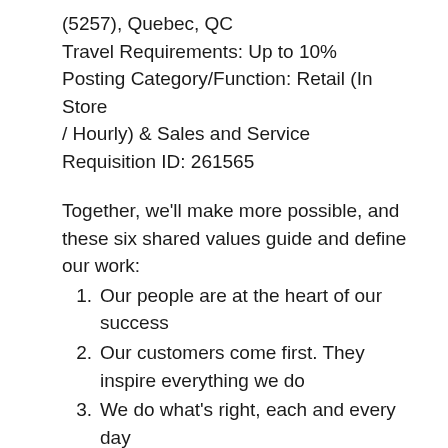(5257), Quebec, QC
Travel Requirements: Up to 10%
Posting Category/Function: Retail (In Store / Hourly) & Sales and Service
Requisition ID: 261565
Together, we'll make more possible, and these six shared values guide and define our work:
Our people are at the heart of our success
Our customers come first. They inspire everything we do
We do what's right, each and every day
We believe in the power of new ideas